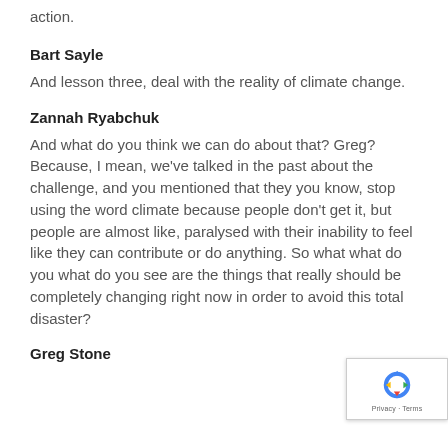action.
Bart Sayle
And lesson three, deal with the reality of climate change.
Zannah Ryabchuk
And what do you think we can do about that? Greg? Because, I mean, we've talked in the past about the challenge, and you mentioned that they you know, stop using the word climate because people don't get it, but people are almost like, paralysed with their inability to feel like they can contribute or do anything. So what what do you what do you see are the things that really should be completely changing right now in order to avoid this total disaster?
Greg Stone
[Figure (other): reCAPTCHA privacy badge in bottom right corner]